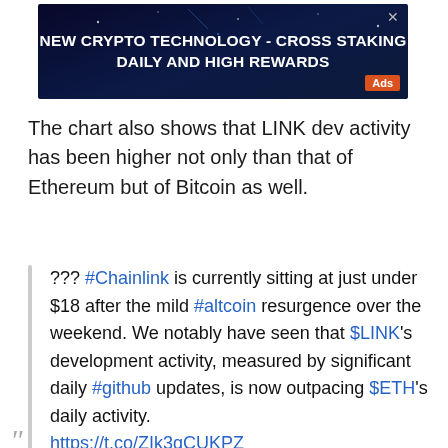[Figure (other): Advertisement banner with dark blue background and glowing effects. Text reads: NEW CRYPTO TECHNOLOGY - CROSS STAKING DAILY AND HIGH REWARDS. Orange 'Ads' badge in bottom right. Close X button top right.]
The chart also shows that LINK dev activity has been higher not only than that of Ethereum but of Bitcoin as well.
??? #Chainlink is currently sitting at just under $18 after the mild #altcoin resurgence over the weekend. We notably have seen that $LINK's development activity, measured by significant daily #github updates, is now outpacing $ETH's daily activity. https://t.co/ZIk3qCUKPZ pic.twitter.com/AEbAUuaOgU